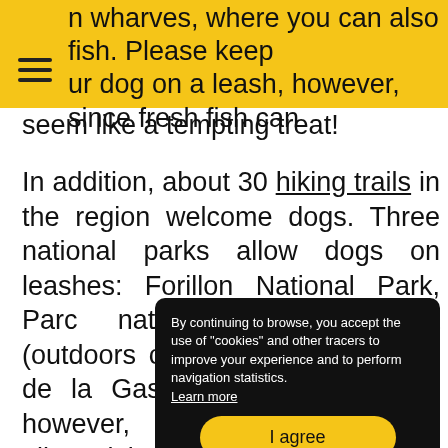n wharves, where you can also fish. Please keep ur dog on a leash, however, since fresh fish can seem like a tempting treat!
In addition, about 30 hiking trails in the region welcome dogs. Three national parks allow dogs on leashes: Forillon National Park, Parc national de Miguasha (outdoors only) and Parc national de la Gaspésie. Keep in mind, however, that dogs are only allowed in certain areas. In Parc national de la Gaspésie, the Chute-Sainte- campground reserves ge camps and presence.
By continuing to browse, you accept the use of "cookies" and other tracers to improve your experience and to perform navigation statistics. Learn more
I agree